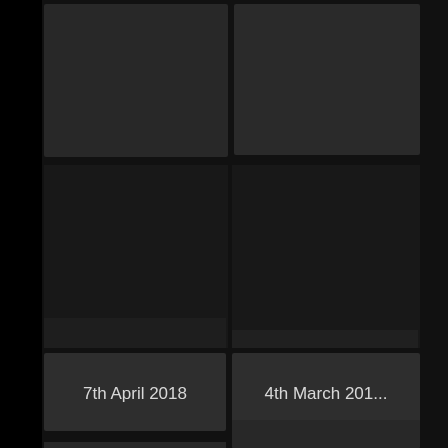[Figure (screenshot): Dark UI screenshot showing a grid of tiles/cards with dates. Two date labels visible: '7th April 2018' and '4th March 201...' on dark background tiles arranged in a two-column grid layout.]
7th April 2018
4th March 201...